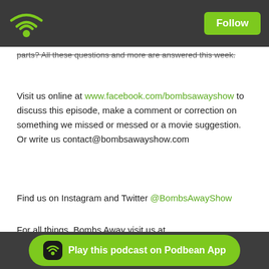Podbean app header with WiFi logo and Follow button
parts? All these questions and more are answered this week.
Visit us online at www.facebook.com/bombsawayshow to discuss this episode, make a comment or correction on something we missed or messed or a movie suggestion. Or write us contact@bombsawayshow.com
Find us on Instagram and Twitter @BombsAwayShow
For all things, Bombs Away visit us at www.bombsawayshow.com
[Figure (logo): PodBean logo with arc WiFi-style graphic above text and dots below]
Likes  Share  Download
Play this podcast on Podbean App